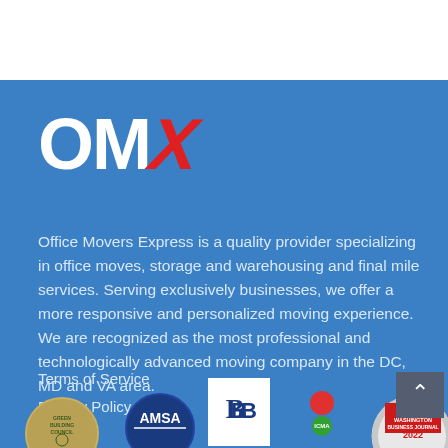[Figure (logo): OMX logo — 'OM' in white bold sans-serif and 'X' in red italic bold sans-serif on blue background]
Office Movers Express is a quality provider specializing in office moves, storage and warehousing and final mile services. Serving exclusively businesses, we offer a more responsive and personalized moving experience. We are recognized as the most professional and technologically advanced moving company in the DC, MD and VA area.
Terms of Service
Privacy Policy
[Figure (logo): Row of certification/award badges: Green Building Council circular badge, AMSA circular badge, BBB square badge, ICMA badge, Washington Business Journal award badge]